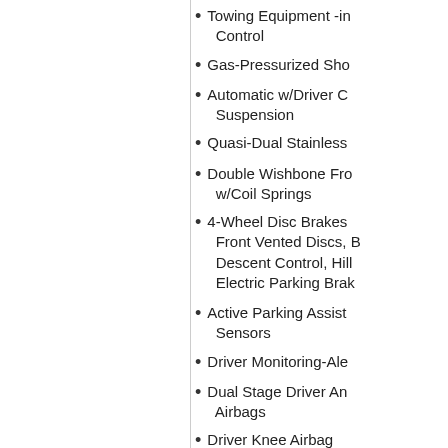Towing Equipment -inc: Trailer Sway Control
Gas-Pressurized Shock Absorbers
Automatic w/Driver Control Suspension
Quasi-Dual Stainless Steel Exhaust
Double Wishbone Front Suspension w/Coil Springs
4-Wheel Disc Brakes w/4-Wheel ABS, Front Vented Discs, Brake Assist, Hill Descent Control, Hill Hold Control and Electric Parking Brake
Active Parking Assist -inc: Front and Rear Sensors
Driver Monitoring-Alert System
Dual Stage Driver And Passenger Seat-Mounted Airbags
Driver Knee Airbag
Outboard Front Lap And Shoulder Safety Belts -inc: Rear Center 3 Point, Height Adjusters and Pretensioners
Omission of Front Passenger Airbag